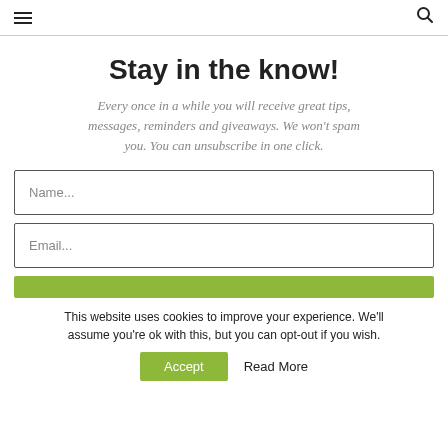≡  🔍
Stay in the know!
Every once in a while you will receive great tips, messages, reminders and giveaways. We won't spam you. You can unsubscribe in one click.
Name...
Email...
This website uses cookies to improve your experience. We'll assume you're ok with this, but you can opt-out if you wish.
Accept    Read More